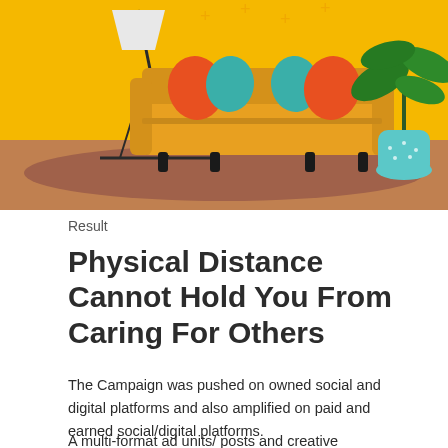[Figure (illustration): Colorful illustration of a living room scene with a yellow sofa, orange and teal cushions, a floor lamp, a potted plant, and an area rug, all on a yellow and brown background.]
Result
Physical Distance Cannot Hold You From Caring For Others
The Campaign was pushed on owned social and digital platforms and also amplified on paid and earned social/digital platforms.
A multi-format ad units/ posts and creative